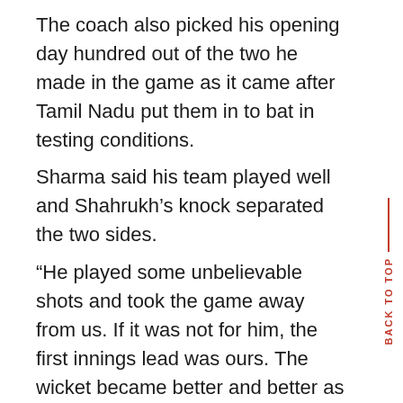The coach also picked his opening day hundred out of the two he made in the game as it came after Tamil Nadu put them in to bat in testing conditions.
Sharma said his team played well and Shahrukh's knock separated the two sides.
“He played some unbelievable shots and took the game away from us. If it was not for him, the first innings lead was ours. The wicket became better and better as the game progressed and by day four there was no help for the bowlers.”
Ishant, Saini available for Jharkhand clash
Delhi bowling will be bolstered by the return of India pacers Ishant Sharma and Navdeep Saini. Ishant, who has been dropped for the Sri Lanka series, has been the leading wicket taker after